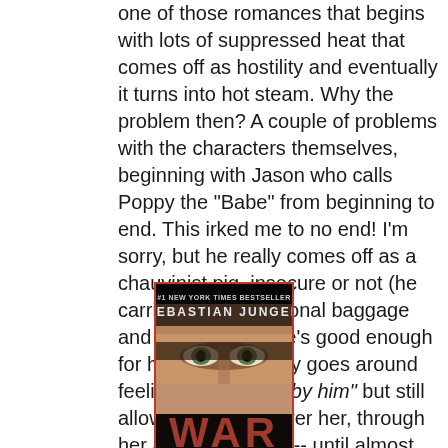one of those romances that begins with lots of suppressed heat that comes off as hostility and eventually it turns into hot steam. Why the problem then? A couple of problems with the characters themselves, beginning with Jason who calls Poppy the "Babe" from beginning to end. This irked me to no end! I'm sorry, but he really comes off as a chauvinist pig, insecure or not (he carries tons of personal baggage and doesn't think he's good enough for her). Then Poppy goes around feeling "diminished by him" but still allows him to run over her, through her and around her -- until almost the end. This was okay, but not my favorite read in this trilogy so far. :(
[Figure (photo): Book cover of 'WAR' by Sebastian Junger, showing a close-up of a soldier's face with the title WAR in large letters at the bottom.]